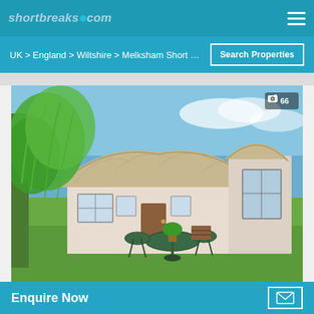shortbreaks.com
UK > England > Wiltshire > Melksham Short Break...
Search Properties
[Figure (photo): Thatched cottage in Wiltshire with garden furniture in foreground, trees to the left, blue sky. Photo count badge showing camera icon and 66.]
Houses in Wiltshire
Enquire Now